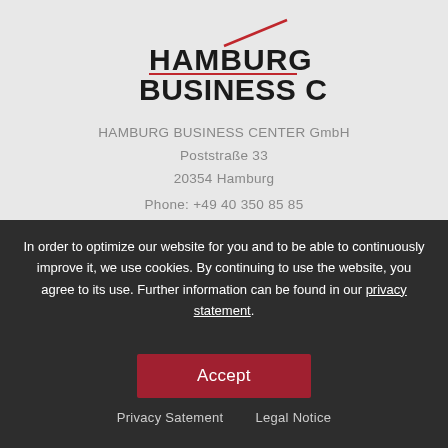[Figure (logo): Hamburg Business Center logo with red diagonal slash line above the text]
HAMBURG BUSINESS CENTER GmbH
Poststraße 33
20354 Hamburg
Phone: +49 40 350 85 85
Fax: +49 40 350 85 80
Email: office@hbc.de
In order to optimize our website for you and to be able to continuously improve it, we use cookies. By continuing to use the website, you agree to its use. Further information can be found in our privacy statement.
Accept
PRODUCTS
Privacy Satement    Legal Notice